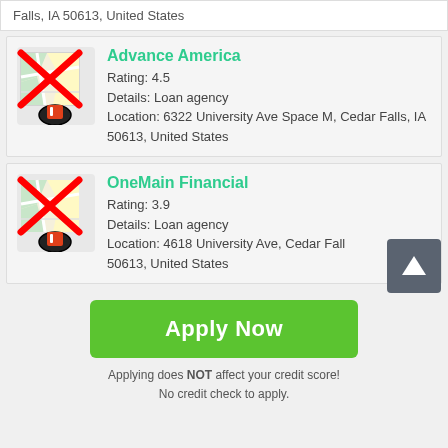Falls, IA 50613, United States
[Figure (screenshot): Map icon with red X overlay for Advance America listing]
Advance America
Rating: 4.5
Details: Loan agency
Location: 6322 University Ave Space M, Cedar Falls, IA 50613, United States
[Figure (screenshot): Map icon with red X overlay for OneMain Financial listing]
OneMain Financial
Rating: 3.9
Details: Loan agency
Location: 4618 University Ave, Cedar Falls, 50613, United States
Apply Now
Applying does NOT affect your credit score!
No credit check to apply.